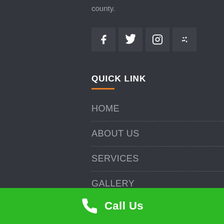county.
[Figure (infographic): Four social media icon buttons: Facebook, Twitter, Instagram, Yelp — dark square backgrounds with white icons]
QUICK LINK
HOME
ABOUT US
SERVICES
GALLERY
BLOG
Call Us